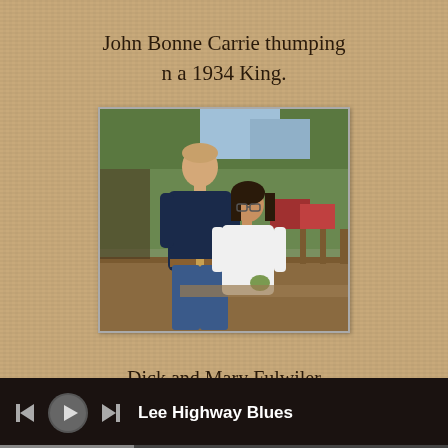John Bonne Carrie thumping
n a 1934 King.
[Figure (photo): Outdoor photo of a man and woman standing together near a wooden railing with trees and parked cars in the background. Man wearing a dark navy t-shirt, woman wearing a white top.]
Dick and Mary Fulwiler
Englewood, OH
Lee Highway Blues